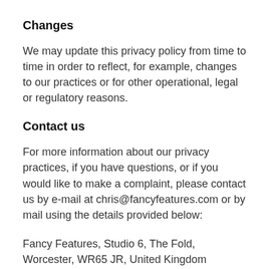Changes
We may update this privacy policy from time to time in order to reflect, for example, changes to our practices or for other operational, legal or regulatory reasons.
Contact us
For more information about our privacy practices, if you have questions, or if you would like to make a complaint, please contact us by e-mail at chris@fancyfeatures.com or by mail using the details provided below:
Fancy Features, Studio 6, The Fold, Worcester, WR65 JR, United Kingdom